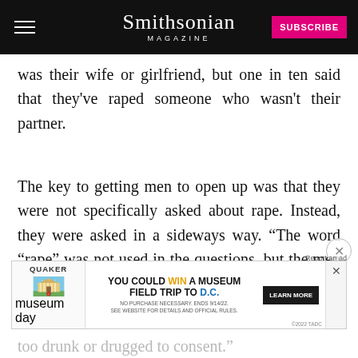Smithsonian MAGAZINE | SUBSCRIBE
was their wife or girlfriend, but one in ten said that they've raped someone who wasn't their partner.
The key to getting men to open up was that they were not specifically asked about rape. Instead, they were asked in a sideways way. “The word “rape” was not used in the questions, but the men were asked if they had ever forced a
woman to have sex when she wasn’t willing, if they ... as too drunk or drugged to consent.”
[Figure (screenshot): Quaker Museum Day advertisement: YOU COULD WIN A MUSEUM FIELD TRIP TO D.C. with LEARN MORE button]